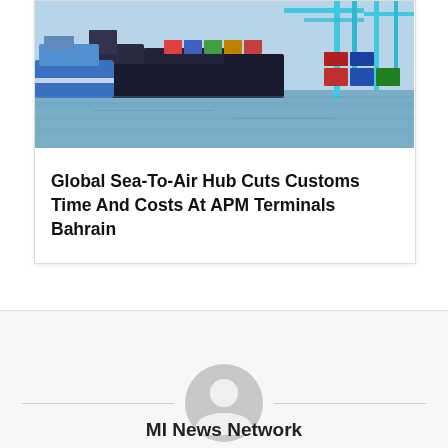[Figure (photo): Container ships and cargo vessels docked at a port terminal with cranes and blue water in the background]
Global Sea-To-Air Hub Cuts Customs Time And Costs At APM Terminals Bahrain
#LNG bunker
#MOL
#Total
[Figure (illustration): Default user avatar icon — grey circular silhouette with person outline]
MI News Network